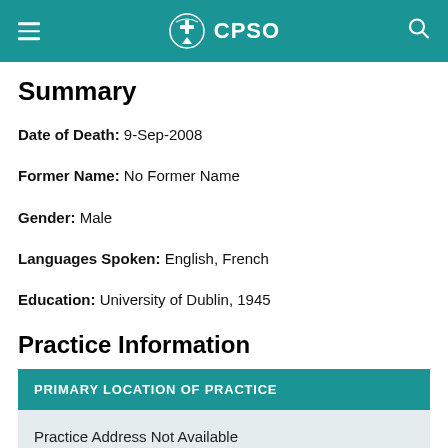CPSO
Summary
Date of Death: 9-Sep-2008
Former Name: No Former Name
Gender: Male
Languages Spoken: English, French
Education: University of Dublin, 1945
Practice Information
| PRIMARY LOCATION OF PRACTICE |
| --- |
| Practice Address Not Available |